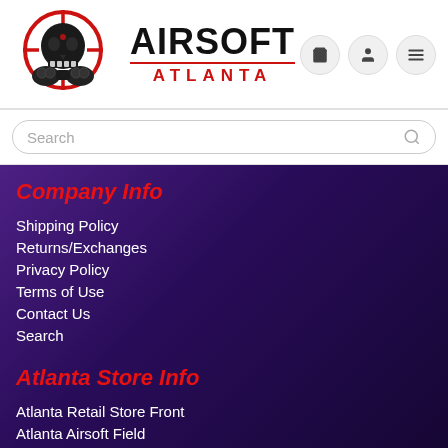[Figure (logo): Airsoft Atlanta logo with skull wearing gas mask inside crosshair target, with 'AIRSOFT' text and 'ATLANTA' subtitle in red]
Search
Company Info
Shipping Policy
Returns/Exchanges
Privacy Policy
Terms of Use
Contact Us
Search
Atlanta Store Info
Atlanta Retail Store Front
Atlanta Airsoft Field